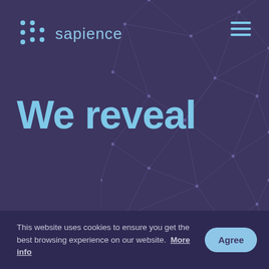[Figure (logo): Sapience logo with dot-grid icon on the left and the word 'sapience' in light blue text on the right, plus a hamburger menu icon in the top-right corner]
We reveal
[Figure (illustration): Abstract network/polygon mesh graphic on the right side of the page, made of connected nodes and triangular facets in muted purple tones]
This website uses cookies to ensure you get the best browsing experience on our website.  More info
Agree